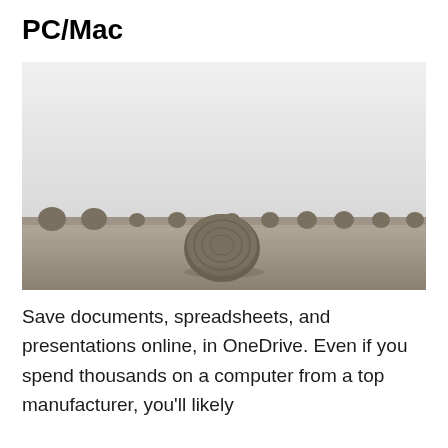PC/Mac
[Figure (photo): Black and white photograph of a harvested field with multiple round hay bales scattered across it, under a light overcast sky.]
Save documents, spreadsheets, and presentations online, in OneDrive. Even if you spend thousands on a computer from a top manufacturer, you'll likely